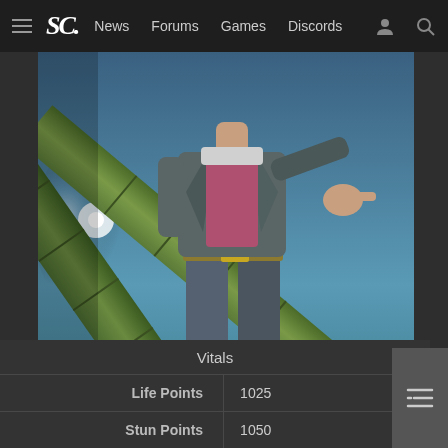SC. News  Forums  Games  Discords
[Figure (illustration): A video game character (appears to be Lucky Chloe or similar fighting game character) standing atop a defeated opponent, wearing a grey suit jacket, pink shirt, and jeans with a gold belt, pointing outward. Large green bamboo poles in background with a blue sky.]
|  | Vitals |  |
| --- | --- | --- |
| Life Points | 1025 |
| Stun Points | 1050 |